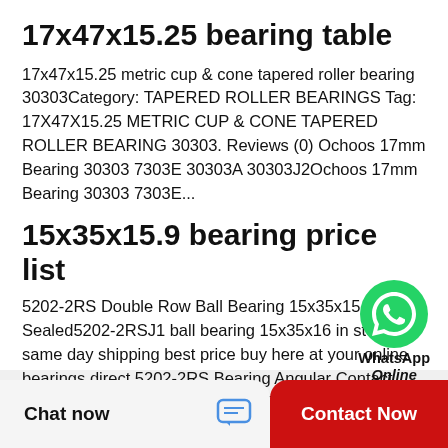17x47x15.25 bearing table
17x47x15.25 metric cup & cone tapered roller bearing 30303Category: TAPERED ROLLER BEARINGS Tag: 17X47X15.25 METRIC CUP & CONE TAPERED ROLLER BEARING 30303. Reviews (0) Ochoos 17mm Bearing 30303 7303E 30303A 30303J2Ochoos 17mm Bearing 30303 7303E...
[Figure (logo): WhatsApp Online logo with green circle and phone icon, with text 'WhatsApp Online']
15x35x15.9 bearing price list
5202-2RS Double Row Ball Bearing 15x35x15.9 Sealed5202-2RSJ1 ball bearing 15x35x16 in stock same day shipping best price buy here at your online bearings direct 5202-2RS Bearing Angular Contact Sealed 15x35x15.9 BallThe VXB 5202-2RS double-row...
Chat now
Contact Now